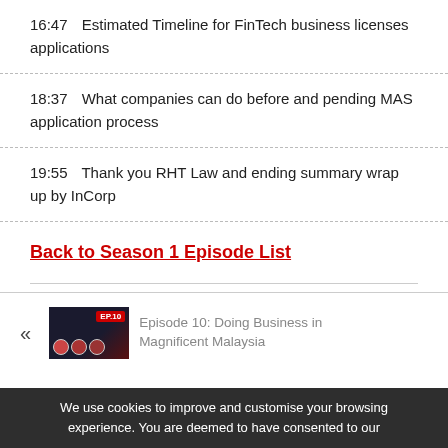16:47    Estimated Timeline for FinTech business licenses applications
18:37    What companies can do before and pending MAS application process
19:55    Thank you RHT Law and ending summary wrap up by InCorp
Back to Season 1 Episode List
Episode 10: Doing Business in Magnificent Malaysia
We use cookies to improve and customise your browsing experience. You are deemed to have consented to our